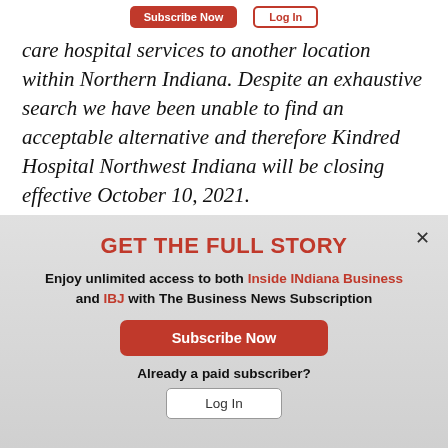[Figure (screenshot): Top navigation bar with Subscribe Now (red button) and Log In (red outline button)]
care hospital services to another location within Northern Indiana. Despite an exhaustive search we have been unable to find an acceptable alternative and therefore Kindred Hospital Northwest Indiana will be closing effective October 10, 2021.
GET THE FULL STORY
Enjoy unlimited access to both Inside INdiana Business and IBJ with The Business News Subscription
[Figure (other): Subscribe Now red button]
Already a paid subscriber?
[Figure (other): Log In outlined button]